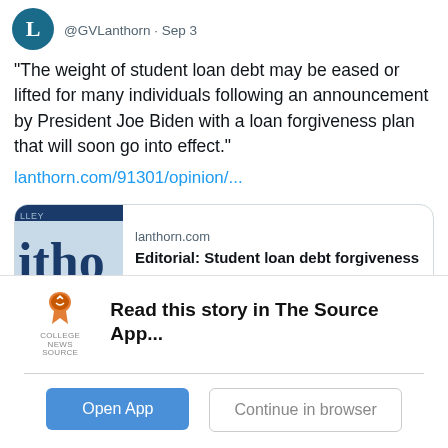@GVLanthorn · Sep 3
"The weight of student loan debt may be eased or lifted for many individuals following an announcement by President Joe Biden with a loan forgiveness plan that will soon go into effect."
lanthorn.com/91301/opinion/...
[Figure (screenshot): Preview card for lanthorn.com article titled 'Editorial: Student loan debt forgiveness on...']
Read this story in The Source App...
Open App
Continue in browser